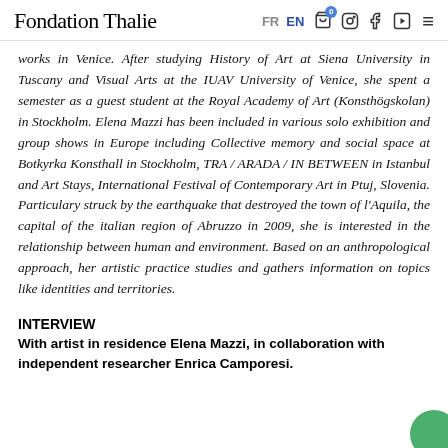Fondation Thalie — FR EN [cart 0] [instagram] [facebook] [youtube] [menu]
works in Venice. After studying History of Art at Siena University in Tuscany and Visual Arts at the IUAV University of Venice, she spent a semester as a guest student at the Royal Academy of Art (Konsthögskolan) in Stockholm. Elena Mazzi has been included in various solo exhibition and group shows in Europe including Collective memory and social space at Botkyrka Konsthall in Stockholm, TRA / ARADA / IN BETWEEN in Istanbul and Art Stays, International Festival of Contemporary Art in Ptuj, Slovenia. Particulary struck by the earthquake that destroyed the town of l'Aquila, the capital of the italian region of Abruzzo in 2009, she is interested in the relationship between human and environment. Based on an anthropological approach, her artistic practice studies and gathers information on topics like identities and territories.
INTERVIEW
With artist in residence Elena Mazzi, in collaboration with independent researcher Enrica Camporesi.